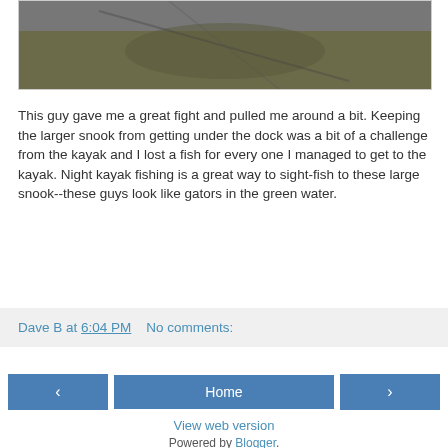[Figure (photo): Photo of a large snook fish in a net, partially visible at top of page]
This guy gave me a great fight and pulled me around a bit. Keeping the larger snook from getting under the dock was a bit of a challenge from the kayak and I lost a fish for every one I managed to get to the kayak. Night kayak fishing is a great way to sight-fish to these large snook--these guys look like gators in the green water.
Dave B at 6:04 PM    No comments:
‹    Home    ›
View web version
Powered by Blogger.